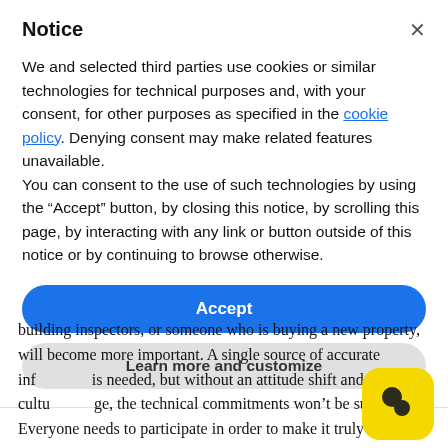Notice
We and selected third parties use cookies or similar technologies for technical purposes and, with your consent, for other purposes as specified in the cookie policy. Denying consent may make related features unavailable.
You can consent to the use of such technologies by using the “Accept” button, by closing this notice, by scrolling this page, by interacting with any link or button outside of this notice or by continuing to browse otherwise.
Accept
Learn more and customize
building inspectors, or someone who is buying a new property, will become more important. A single source of accurate inf is needed, but without an attitude shift and systemic, cultu ge, the technical commitments won’t be successful. Everyone needs to participate in order to make it truly work.
[Figure (logo): Yellow rounded square icon with two dark brown circle/dot shapes resembling a logo in the bottom right corner of the page]